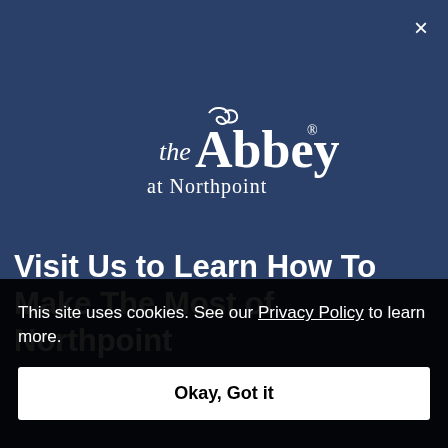[Figure (logo): The Abbey at Northpoint logo — decorative serif wordmark with 'the' in italic script, 'Abbey' in large serif bold with a registered trademark symbol, and 'at Northpoint' below in smaller serif text, all in white on dark blue background]
×
Visit Us to Learn How To Make The Most of Northpoint
This site uses cookies. See our Privacy Policy to learn more.
Okay, Got it